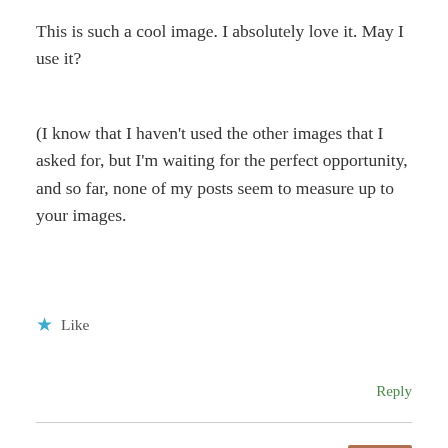This is such a cool image. I absolutely love it. May I use it?
(I know that I haven't used the other images that I asked for, but I'm waiting for the perfect opportunity, and so far, none of my posts seem to measure up to your images.
★ Like
Reply
Titirangi Storyteller
19/09/2011 at 12:24 pm
Please do. I look forward to seeing what it 'goes with' it… My insights are below in my response to Ms